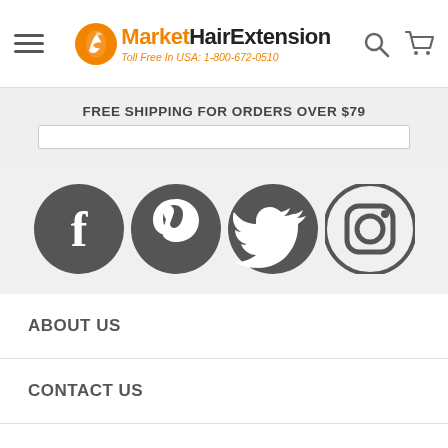[Figure (logo): MarketHairExtension logo with orange circle icon, black and orange brand name, and orange tagline 'Toll Free In USA: 1-800-672-0510']
FREE SHIPPING FOR ORDERS OVER $79
[Figure (infographic): Four social media icons: Facebook (f), Pinterest (P), Twitter (bird), Instagram (camera) — all dark gray circles on light gray background]
ABOUT US
CONTACT US
ORDER TRACKING
SHIPPING INFORMATION